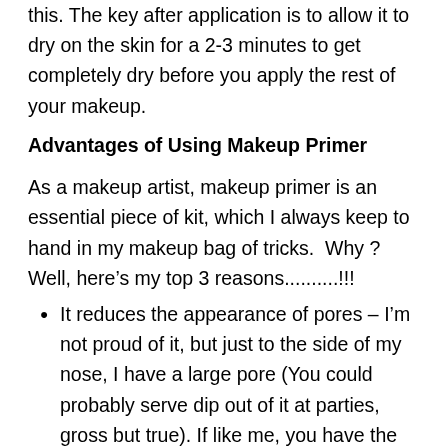this. The key after application is to allow it to dry on the skin for a 2-3 minutes to get completely dry before you apply the rest of your makeup.
Advantages of Using Makeup Primer
As a makeup artist, makeup primer is an essential piece of kit, which I always keep to hand in my makeup bag of tricks.  Why ? Well, here’s my top 3 reasons..........!!!
It reduces the appearance of pores – I’m not proud of it, but just to the side of my nose, I have a large pore (You could probably serve dip out of it at parties, gross but true). If like me, you have the occasional deep pore, you’ll find that using a primer will seal, fill and reduces their appearance. Even if you’re one of those lucky